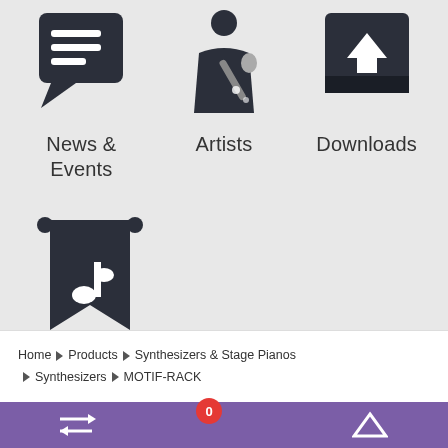[Figure (illustration): Icon of a chat/news speech bubble with text lines inside]
News & Events
[Figure (illustration): Icon of an artist/musician with microphone]
Artists
[Figure (illustration): Icon of a download tray with downward arrow]
Downloads
[Figure (illustration): Icon of a banner/bookmark with a music note]
Special Contents
Home ▶ Products ▶ Synthesizers & Stage Pianos ▶ Synthesizers ▶ MOTIF-RACK